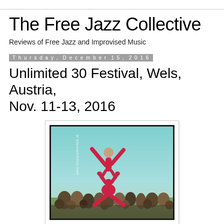The Free Jazz Collective
Reviews of Free Jazz and Improvised Music
Thursday, December 15, 2016
Unlimited 30 Festival, Wels, Austria, Nov. 11-13, 2016
[Figure (photo): Two acrobats in bright pink/red bodysuits performing an acrobatic stunt outdoors, with a crowd in the background. Text on image reads 'www.musicunlimited.at' and 'unlimited 30' in yellow-green vertical text on the right side.]